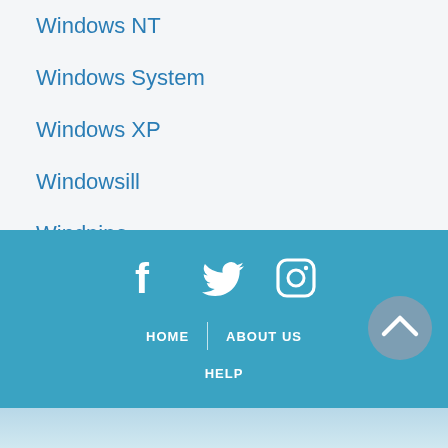Windows NT
Windows System
Windows XP
Windowsill
Windpipe
Windproof
Social icons: Facebook, Twitter, Instagram | HOME | ABOUT US | HELP